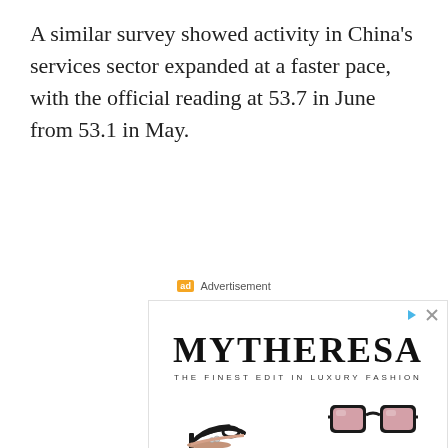A similar survey showed activity in China's services sector expanded at a faster pace, with the official reading at 53.7 in June from 53.1 in May.
[Figure (other): MYTHERESA advertisement banner - 'THE FINEST EDIT IN LUXURY FASHION' with images of black strappy heels and black sunglasses with pink lenses]